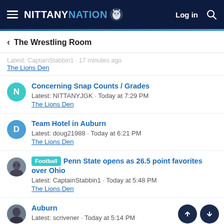NITTANY NATION — Log in
< The Wrestling Room
Latest: CaptainStabbin1 · 17 minutes ago
The Lions Den
Concerning Snap Counts / Grades
Latest: NITTANYJGK · Today at 7:29 PM
The Lions Den
Team Hotel in Auburn
Latest: doug21988 · Today at 6:21 PM
The Lions Den
[Football] Penn State opens as 26.5 point favorites over Ohio
Latest: CaptainStabbin1 · Today at 5:48 PM
The Lions Den
Auburn
Latest: scrivener · Today at 5:14 PM